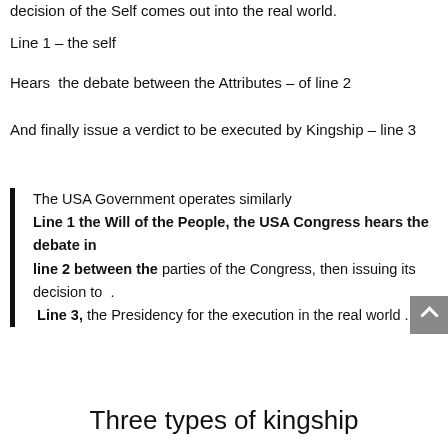decision of the Self comes out into the real world.
Line 1 – the self
Hears  the debate between the Attributes – of line 2
And finally issue a verdict to be executed by Kingship – line 3
The USA Government operates similarly
Line 1 the Will of the People, the USA Congress hears the debate in
line 2 between the parties of the Congress, then issuing its decision to .
 Line 3, the Presidency for the execution in the real world .
Three types of kingship